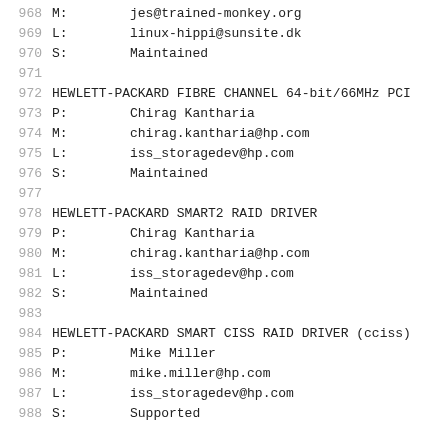968   M:        jes@trained-monkey.org
969   L:        linux-hippi@sunsite.dk
970   S:        Maintained
971
972   HEWLETT-PACKARD FIBRE CHANNEL 64-bit/66MHz PCI
973   P:        Chirag Kantharia
974   M:        chirag.kantharia@hp.com
975   L:        iss_storagedev@hp.com
976   S:        Maintained
977
978   HEWLETT-PACKARD SMART2 RAID DRIVER
979   P:        Chirag Kantharia
980   M:        chirag.kantharia@hp.com
981   L:        iss_storagedev@hp.com
982   S:        Maintained
983
984   HEWLETT-PACKARD SMART CISS RAID DRIVER (cciss)
985   P:        Mike Miller
986   M:        mike.miller@hp.com
987   L:        iss_storagedev@hp.com
988   S:        Supported